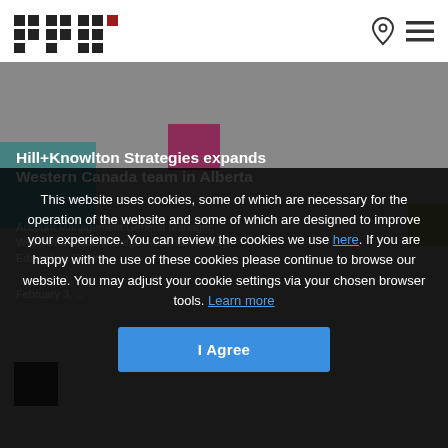Hill+Knowlton Strategies — logo and navigation icons
Hill+Knowlton Strategies expands Western Canada team in Alberta
Account Management General Manager, Western Canada Manager Victoria, Calgary, Edmonton, Regina
February 3, ...
This website uses cookies, some of which are necessary for the operation of the website and some of which are designed to improve your experience. You can review the cookies we use here. If you are happy with the use of these cookies please continue to browse our website. You may adjust your cookie settings via your chosen browser tools. Learn more
I Agree